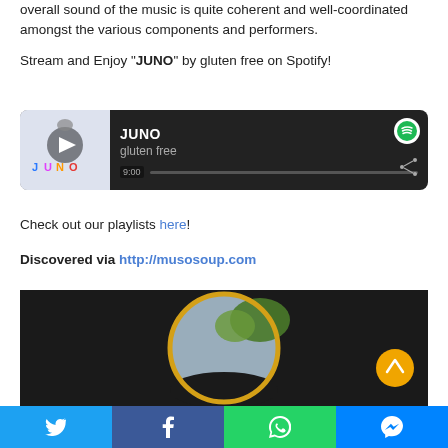overall sound of the music is quite coherent and well-coordinated amongst the various components and performers.
Stream and Enjoy "JUNO" by gluten free on Spotify!
[Figure (screenshot): Spotify embedded music player showing the track 'JUNO' by gluten free, with album art, play button, progress bar showing 9:00, and share icon.]
Check out our playlists here!
Discovered via http://musosoup.com
[Figure (photo): Dark background image with a circular mirror/lens reflecting a blue sky and trees, with a gold circular back-to-top button arrow on the right side.]
Twitter | Facebook | WhatsApp | Messenger social sharing bar